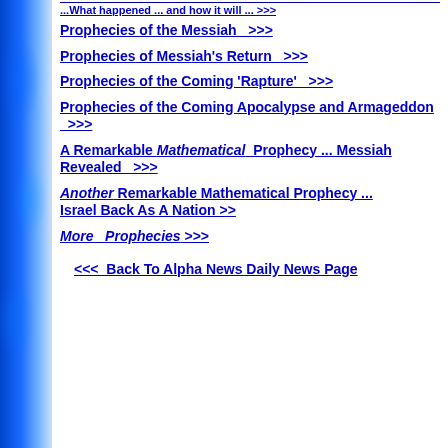...What happened ... and how it will ...  >>>
Prophecies of the Messiah  >>>
Prophecies of Messiah's Return  >>>
Prophecies of the Coming 'Rapture'  >>>
Prophecies of the Coming Apocalypse and Armageddon  >>>
A Remarkable Mathematical Prophecy ... Messiah Revealed  >>>
Another Remarkable Mathematical Prophecy ... Israel Back As A Nation >>
More  Prophecies >>>
<<< Back To Alpha News Daily News Page